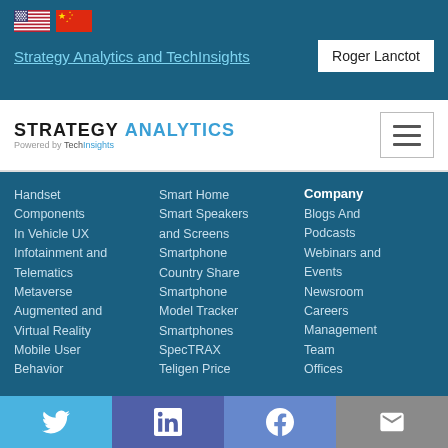[Figure (logo): US and Chinese flags side by side]
Strategy Analytics and TechInsights
Roger Lanctot
[Figure (logo): Strategy Analytics powered by TechInsights logo with hamburger menu icon]
Handset Components
In Vehicle UX
Infotainment and Telematics
Metaverse
Augmented and Virtual Reality
Mobile User Behavior
Smart Home
Smart Speakers and Screens
Smartphone Country Share
Smartphone Model Tracker
Smartphones SpecTRAX
Teligen Price
Company
Blogs And Podcasts
Webinars and Events
Newsroom
Careers
Management Team
Offices
[Figure (other): Social media bar with Twitter, LinkedIn, Facebook, and email icons]